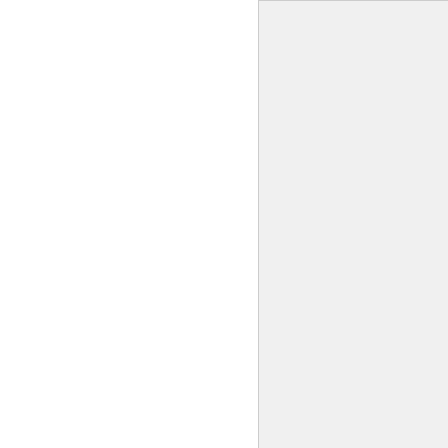Hm, maybe. Oh well, at lea
though now it seems the co copying this will get fixed.
lesson of the day: actually p
Find
Santeri Piippo
LDraw.org Moderator
Part a
Re: [0.2.1] LDForge
2014-02-25, 14:20
---
Find